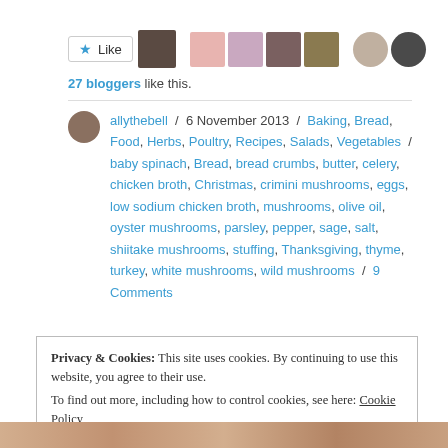[Figure (other): Like button with star icon and blogger avatar thumbnails]
27 bloggers like this.
allythebell / 6 November 2013 / Baking, Bread, Food, Herbs, Poultry, Recipes, Salads, Vegetables / baby spinach, Bread, bread crumbs, butter, celery, chicken broth, Christmas, crimini mushrooms, eggs, low sodium chicken broth, mushrooms, olive oil, oyster mushrooms, parsley, pepper, sage, salt, shiitake mushrooms, stuffing, Thanksgiving, thyme, turkey, white mushrooms, wild mushrooms / 9 Comments
Privacy & Cookies: This site uses cookies. By continuing to use this website, you agree to their use. To find out more, including how to control cookies, see here: Cookie Policy
[Figure (other): Close and accept button for cookie banner]